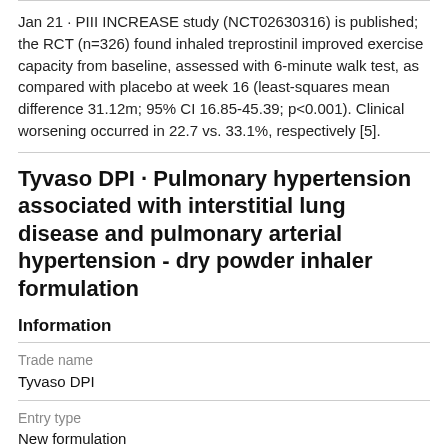Jan 21 · PIII INCREASE study (NCT02630316) is published; the RCT (n=326) found inhaled treprostinil improved exercise capacity from baseline, assessed with 6-minute walk test, as compared with placebo at week 16 (least-squares mean difference 31.12m; 95% CI 16.85-45.39; p<0.001). Clinical worsening occurred in 22.7 vs. 33.1%, respectively [5].
Tyvaso DPI · Pulmonary hypertension associated with interstitial lung disease and pulmonary arterial hypertension - dry powder inhaler formulation
Information
| Trade name | Tyvaso DPI |
| Entry type | New formulation |